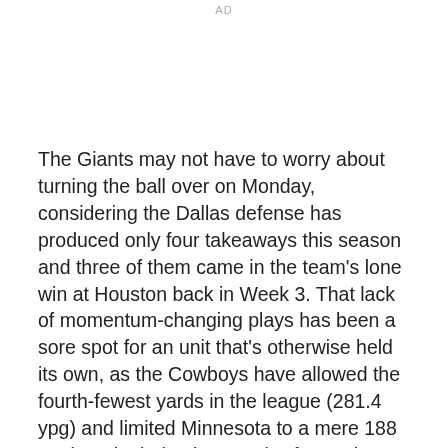AD
The Giants may not have to worry about turning the ball over on Monday, considering the Dallas defense has produced only four takeaways this season and three of them came in the team's lone win at Houston back in Week 3. That lack of momentum-changing plays has been a sore spot for an unit that's otherwise held its own, as the Cowboys have allowed the fourth-fewest yards in the league (281.4 ypg) and limited Minnesota to a mere 188 total yards during last week's frustrating setback. After being gashed for 153 rushing yards by Tennessee two weeks ago, Dallas tightened